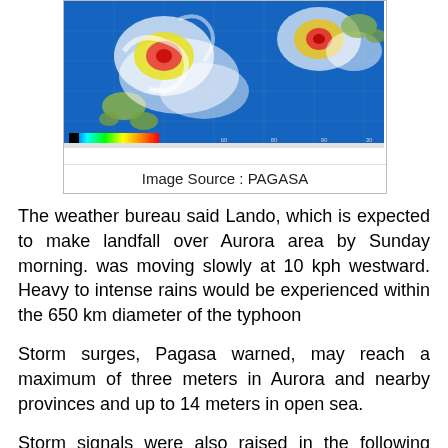[Figure (photo): Satellite image showing typhoon Lando (with red and yellow spiral storm system) over the Philippines region, with another storm visible to the right. Blue ocean background with cloud formations. Color scale bar at bottom left.]
Image Source : PAGASA
The weather bureau said Lando, which is expected to make landfall over Aurora area by Sunday morning. was moving slowly at 10 kph westward. Heavy to intense rains would be experienced within the 650 km diameter of the typhoon
Storm surges, Pagasa warned, may reach a maximum of three meters in Aurora and nearby provinces and up to 14 meters in open sea.
Storm signals were also raised in the following provinces (as of 5 PM):
Storm Signal No. 4
Aurora